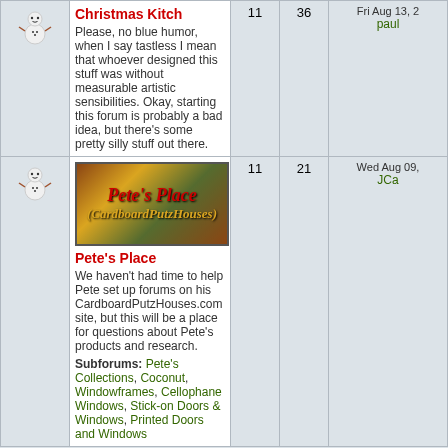| Icon | Forum | Topics | Posts | Last post |
| --- | --- | --- | --- | --- |
| [snowman icon] | Christmas Kitch
Please, no blue humor, when I say tastless I mean that whoever designed this stuff was without measurable artistic sensibilities. Okay, starting this forum is probably a bad idea, but there's some pretty silly stuff out there. | 11 | 36 | Fri Aug 13, 2...
paulr |
| [snowman icon] | [Pete's Place banner]
Pete's Place
We haven't had time to help Pete set up forums on his CardboardPutzHouses.com site, but this will be a place for questions about Pete's products and research.
Subforums: Pete's Collections, Coconut, Windowframes, Cellophane Windows, Stick-on Doors & Windows, Printed Doors and Windows | 11 | 21 | Wed Aug 09,
JCa |
Delete all board cookies | The team
Board index                            All times are UTC - 5 hours [ DST ]
Who is online
In total there are 12 users online :: 0 registered, 0 hidden and 12 guests (based on users active over the past 5 minutes)
Most users ever online was 348 on Sat Jul 11, 2020 10:23 am

Registered users: No registered users